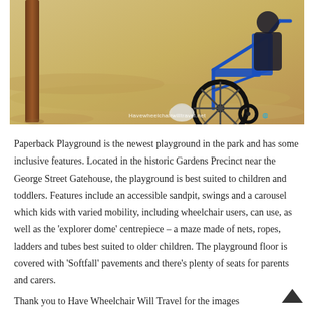[Figure (photo): A photograph of a blue wheelchair on a sandy beach near a wooden post. A watermark reads 'Havewheelchairwilltravel.net' in the lower right corner of the image.]
Paperback Playground is the newest playground in the park and has some inclusive features. Located in the historic Gardens Precinct near the George Street Gatehouse, the playground is best suited to children and toddlers. Features include an accessible sandpit, swings and a carousel which kids with varied mobility, including wheelchair users, can use, as well as the 'explorer dome' centrepiece – a maze made of nets, ropes, ladders and tubes best suited to older children. The playground floor is covered with 'Softfall' pavements and there's plenty of seats for parents and carers.
Thank you to Have Wheelchair Will Travel for the images